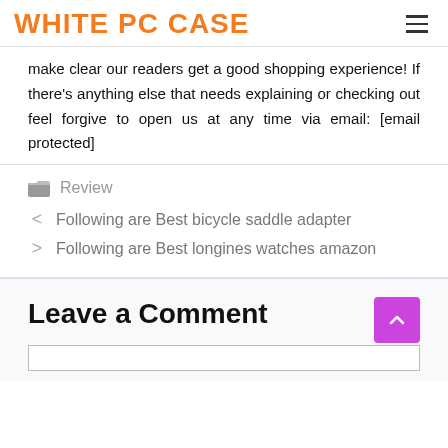WHITE PC CASE
make clear our readers get a good shopping experience! If there's anything else that needs explaining or checking out feel forgive to open us at any time via email: [email protected]
Review
Following are Best bicycle saddle adapter
Following are Best longines watches amazon
Leave a Comment